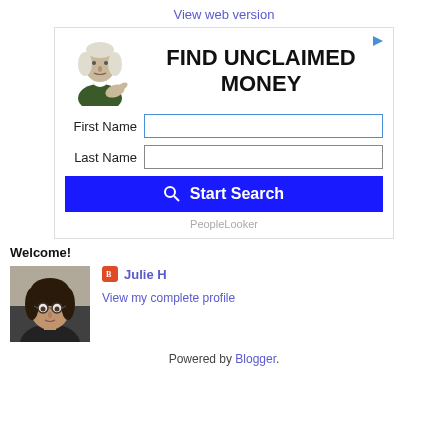View web version
[Figure (screenshot): Advertisement for 'Find Unclaimed Money' search tool by PeopleLooker. Shows George Washington image, First Name and Last Name fields, Start Search button.]
Welcome!
[Figure (photo): Profile photo of Julie H, a woman with dark hair and glasses]
Julie H
View my complete profile
Powered by Blogger.